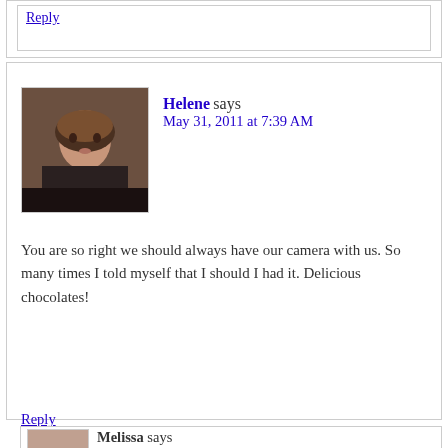Reply
Helene says
May 31, 2011 at 7:39 AM
You are so right we should always have our camera with us. So many times I told myself that I should I had it. Delicious chocolates!
Reply
Melissa says